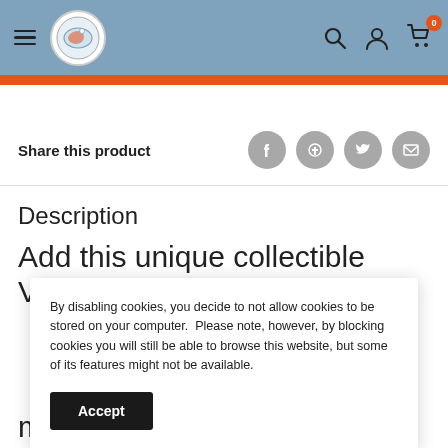Navigation header with hamburger menu, logo, search, account, and cart icons
Share this product
Description
Add this unique collectible Viking
By disabling cookies, you decide to not allow cookies to be stored on your computer. Please note, however, by blocking cookies you will still be able to browse this website, but some of its features might not be available.
making for a great gift or